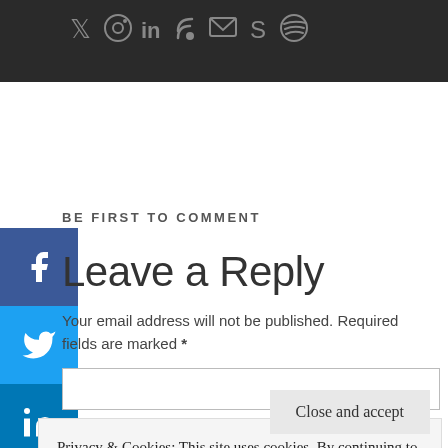[Figure (screenshot): Dark header bar with social media icons: Twitter, Instagram, LinkedIn, RSS, Email, Skype, Spotify]
BE FIRST TO COMMENT
Leave a Reply
Your email address will not be published. Required fields are marked *
Privacy & Cookies: This site uses cookies. By continuing to use this website, you agree to their use.
To find out more, including how to control cookies, see here: Cookie Policy
Close and accept